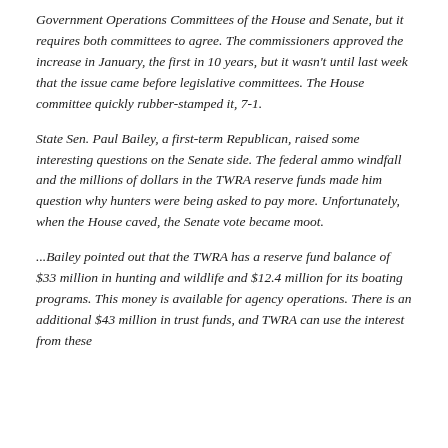Government Operations Committees of the House and Senate, but it requires both committees to agree. The commissioners approved the increase in January, the first in 10 years, but it wasn't until last week that the issue came before legislative committees. The House committee quickly rubber-stamped it, 7-1.
State Sen. Paul Bailey, a first-term Republican, raised some interesting questions on the Senate side. The federal ammo windfall and the millions of dollars in the TWRA reserve funds made him question why hunters were being asked to pay more. Unfortunately, when the House caved, the Senate vote became moot.
...Bailey pointed out that the TWRA has a reserve fund balance of $33 million in hunting and wildlife and $12.4 million for its boating programs. This money is available for agency operations. There is an additional $43 million in trust funds, and TWRA can use the interest from these